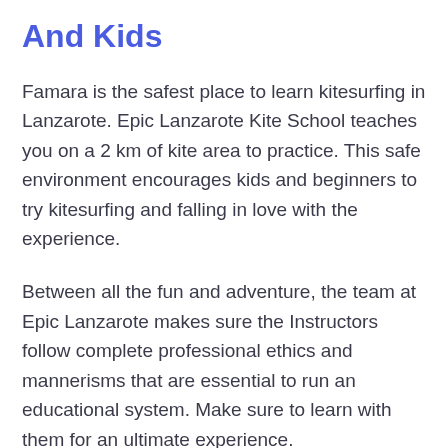And Kids
Famara is the safest place to learn kitesurfing in Lanzarote. Epic Lanzarote Kite School teaches you on a 2 km of kite area to practice. This safe environment encourages kids and beginners to try kitesurfing and falling in love with the experience.
Between all the fun and adventure, the team at Epic Lanzarote makes sure the Instructors follow complete professional ethics and mannerisms that are essential to run an educational system. Make sure to learn with them for an ultimate experience.